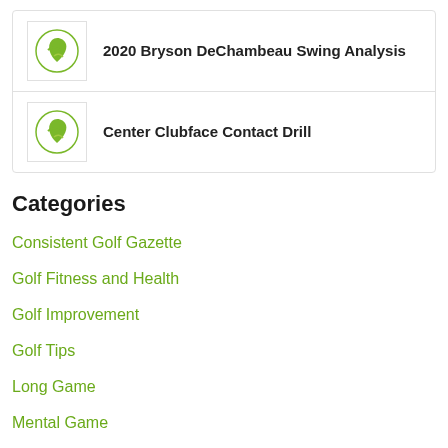[Figure (logo): Golf swing logo icon in green]
2020 Bryson DeChambeau Swing Analysis
[Figure (logo): Golf swing logo icon in green]
Center Clubface Contact Drill
Categories
Consistent Golf Gazette
Golf Fitness and Health
Golf Improvement
Golf Tips
Long Game
Mental Game
Product Reviews